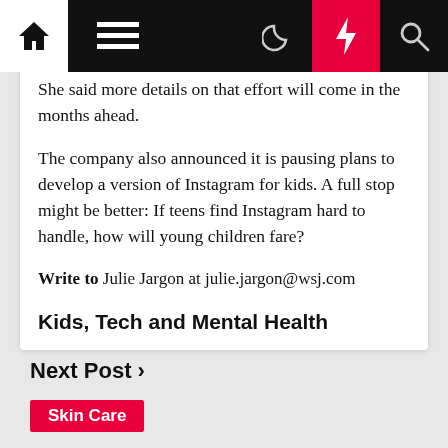Navigation bar with home, menu, moon, bolt, and search icons
She said more details on that effort will come in the months ahead.
The company also announced it is pausing plans to develop a version of Instagram for kids. A full stop might be better: If teens find Instagram hard to handle, how will young children fare?
Write to Julie Jargon at julie.jargon@wsj.com
Kids, Tech and Mental Health
Next Post ›
Skin Care
What Is Self...